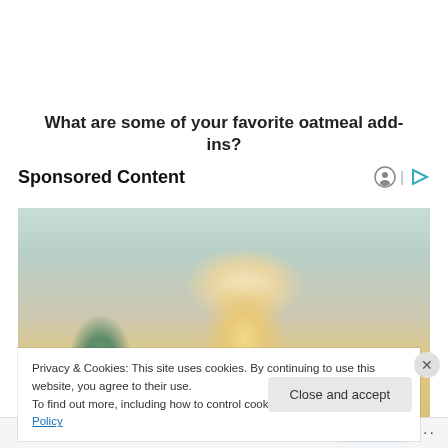What are some of your favorite oatmeal add-ins?
Sponsored Content
[Figure (photo): Blurred photo of a blonde woman in a yellow sweater looking down, with green plant in background]
Privacy & Cookies: This site uses cookies. By continuing to use this website, you agree to their use.
To find out more, including how to control cookies, see here: Cookie Policy
Close and accept
Follow ...